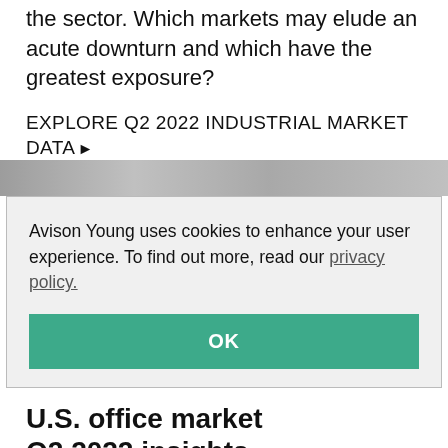the sector. Which markets may elude an acute downturn and which have the greatest exposure?
EXPLORE Q2 2022 INDUSTRIAL MARKET DATA ▶
Avison Young uses cookies to enhance your user experience. To find out more, read our privacy policy.
OK
U.S. office market Q2 2022 insights